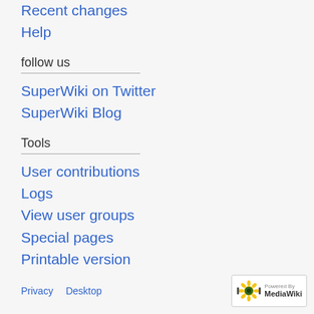Recent changes
Help
follow us
SuperWiki on Twitter
SuperWiki Blog
Tools
User contributions
Logs
View user groups
Special pages
Printable version
Privacy  Desktop  Powered by MediaWiki